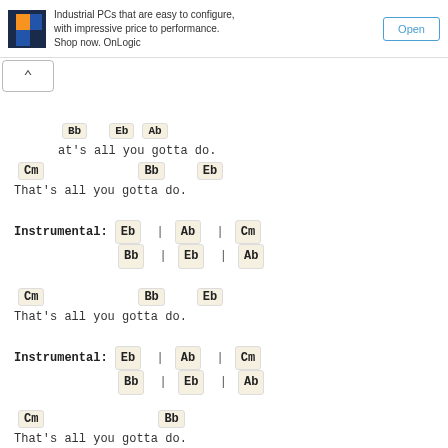[Figure (screenshot): Ad banner for OnLogic industrial PCs with logo, text, and Open button]
Bb  Eb  Ab
at's all you gotta do.
Cm          Bb      Eb
That's all you gotta do.
Instrumental: Eb | Ab | Cm
              Bb | Eb | Ab
Cm          Bb      Eb
That's all you gotta do.
Instrumental: Eb | Ab | Cm
              Bb | Eb | Ab
Cm      Bb
That's all you gotta do.
Train - more songs with chords